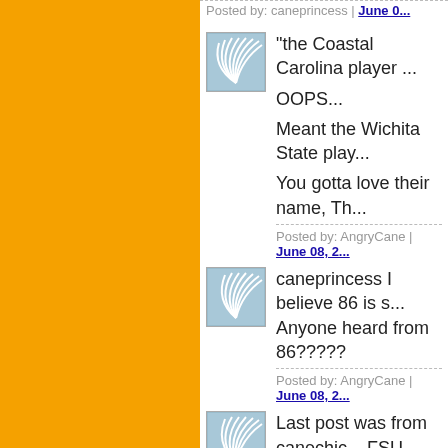Posted by: caneprincess | June 0...
[Figure (illustration): Blue and white fan/wave pattern avatar icon]
"the Coastal Carolina player ...
OOPS...
Meant the Wichita State play...
You gotta love their name, Th...
Posted by: AngryCane | June 08, 2...
[Figure (illustration): Blue and white fan/wave pattern avatar icon]
caneprincess I believe 86 is s... Anyone heard from 86?????
Posted by: AngryCane | June 08, 2...
[Figure (illustration): Blue and white fan/wave pattern avatar icon]
Last post was from canechic... FSU
Posted by: canechic | June 08, 200...
[Figure (illustration): Green sunburst/flower avatar icon]
Weather now in Coral Gables...